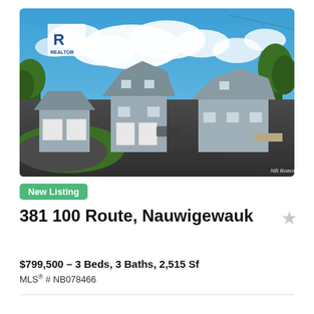[Figure (photo): Exterior photo of a residential property at 381 100 Route, Nauwigewauk showing two gray cape-style homes with attached garages, large paved driveway, green lawn, blue sky with clouds. REALTOR logo in top-left corner. 'NB Boards' watermark bottom-right.]
New Listing
381 100 Route, Nauwigewauk
$799,500 – 3 Beds, 3 Baths, 2,515 Sf
MLS® # NB078466